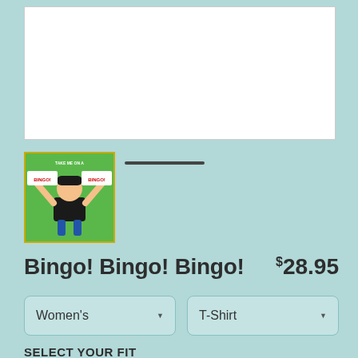[Figure (photo): White product image display area]
[Figure (illustration): Thumbnail of Bingo! Bingo! Bingo! t-shirt design showing cartoon person holding up BINGO signs on green background]
Bingo! Bingo! Bingo!
$28.95
Women's
T-Shirt
SELECT YOUR FIT
$22.45
Fitted
$22.45
Regular Unisex